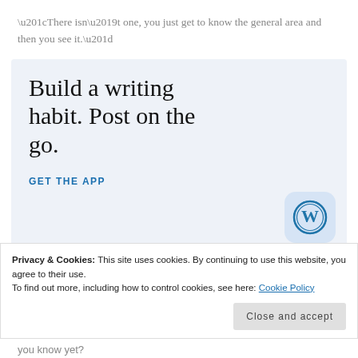“There isn’t one, you just get to know the general area and then you see it.”
[Figure (infographic): WordPress mobile app advertisement with light blue background. Large serif text reads 'Build a writing habit. Post on the go.' with a 'GET THE APP' call-to-action link and WordPress circular logo icon in bottom right.]
Privacy & Cookies: This site uses cookies. By continuing to use this website, you agree to their use.
To find out more, including how to control cookies, see here: Cookie Policy
you know yet?